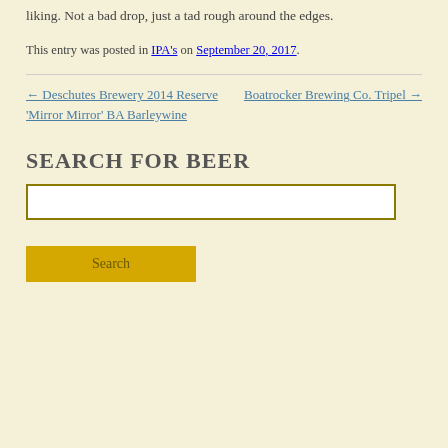liking. Not a bad drop, just a tad rough around the edges.
This entry was posted in IPA's on September 20, 2017.
← Deschutes Brewery 2014 Reserve 'Mirror Mirror' BA Barleywine
Boatrocker Brewing Co. Tripel →
SEARCH FOR BEER